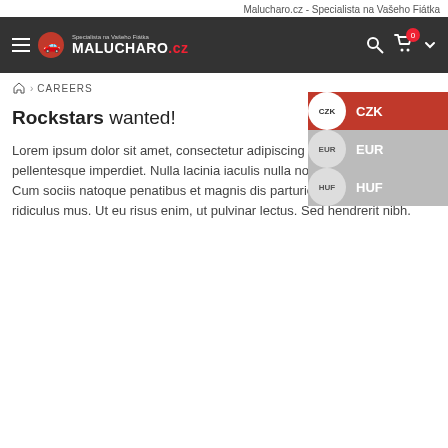Malucharo.cz - Specialista na Vašeho Fiátka
[Figure (screenshot): Dark navigation bar with hamburger menu, Malucharo.cz logo with red figure icon, search icon, cart icon with badge showing 0, and chevron dropdown arrow. Currency selector dropdown showing CZK (active/red), EUR, HUF options.]
⌂ > CAREERS
Rockstars wanted!
Lorem ipsum dolor sit amet, consectetur adipiscing elit. Quisque rutrum pellentesque imperdiet. Nulla lacinia iaculis nulla non metus. pulvinar. Cum sociis natoque penatibus et magnis dis parturient montes, nascetur ridiculus mus. Ut eu risus enim, ut pulvinar lectus. Sed hendrerit nibh.